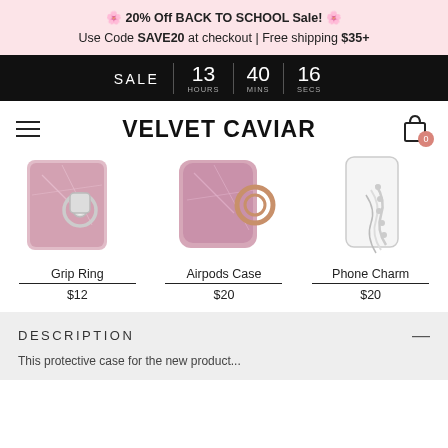🌸 20% Off BACK TO SCHOOL Sale! 🌸
Use Code SAVE20 at checkout | Free shipping $35+
SALE  13 HOURS  40 MINS  16 SECS
VELVET CAVIAR
[Figure (photo): Three product photos: pink floral Grip Ring ($12), pink floral Airpods Case ($20), silver Phone Charm ($20)]
Grip Ring
$12
Airpods Case
$20
Phone Charm
$20
DESCRIPTION
This protective case for the new product...